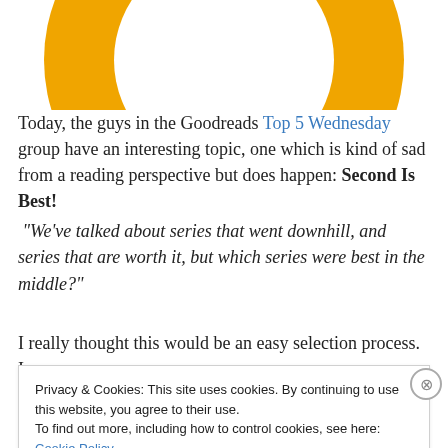[Figure (logo): Partial orange donut/ring shape logo at the top of the page, cropped]
Today, the guys in the Goodreads Top 5 Wednesday group have an interesting topic, one which is kind of sad from a reading perspective but does happen: Second Is Best! “We’ve talked about series that went downhill, and series that are worth it, but which series were best in the middle?”
I really thought this would be an easy selection process.  I
Privacy & Cookies: This site uses cookies. By continuing to use this website, you agree to their use.
To find out more, including how to control cookies, see here: Cookie Policy
Close and accept